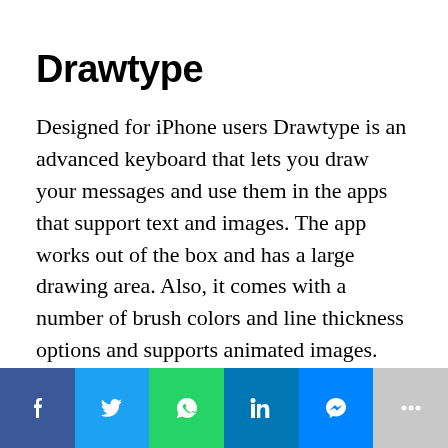Drawtype
Designed for iPhone users Drawtype is an advanced keyboard that lets you draw your messages and use them in the apps that support text and images. The app works out of the box and has a large drawing area. Also, it comes with a number of brush colors and line thickness options and supports animated images. Drawtype will be a great option for users who’d love to send a hand
[Figure (infographic): Social sharing bar with six buttons: Facebook (dark blue), Twitter (light blue), WhatsApp (green), LinkedIn (blue), Messenger (bright blue), More/Plus (gray). Each button contains the respective icon in white.]